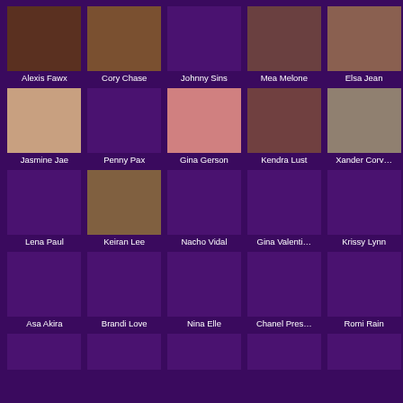[Figure (other): Grid of performer thumbnails with names: Alexis Fawx, Cory Chase, Johnny Sins, Mea Melone, Elsa Jean, Jasmine Jae, Penny Pax, Gina Gerson, Kendra Lust, Xander Corvus, Lena Paul, Keiran Lee, Nacho Vidal, Gina Valentina, Krissy Lynn, Asa Akira, Brandi Love, Nina Elle, Chanel Preston, Romi Rain, and 5 more partial cells]